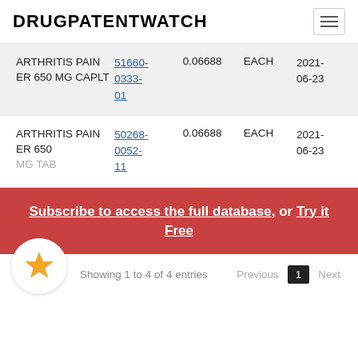DRUGPATENTWATCH
| Name | NDC | Price | Unit | Date |
| --- | --- | --- | --- | --- |
| ARTHRITIS PAIN ER 650 MG CAPLT | 51660-0333-01 | 0.06688 | EACH | 2021-06-23 |
| ARTHRITIS PAIN ER 650 MG TAB | 50268-0052-11 | 0.06688 | EACH | 2021-06-23 |
Subscribe to access the full database, or Try it Free
Showing 1 to 4 of 4 entries
Previous 1 Next